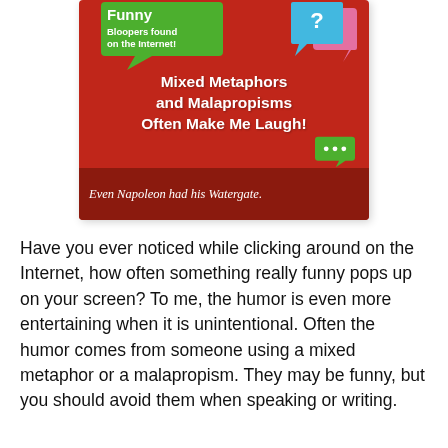[Figure (illustration): Book cover with red background showing speech bubbles and text: 'Funny Bloopers found on the Internet! Mixed Metaphors and Malapropisms Often Make Me Laugh!' with a quote: 'Even Napoleon had his Watergate.']
Have you ever noticed while clicking around on the Internet, how often something really funny pops up on your screen? To me, the humor is even more entertaining when it is unintentional. Often the humor comes from someone using a mixed metaphor or a malapropism. They may be funny, but you should avoid them when speaking or writing.